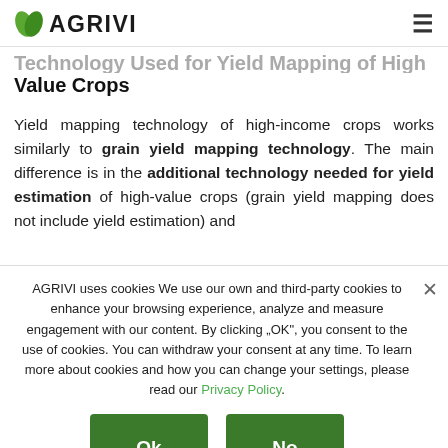AGRIVI
Technology Used for Yield Mapping of High Value Crops
Yield mapping technology of high-income crops works similarly to grain yield mapping technology. The main difference is in the additional technology needed for yield estimation of high-value crops (grain yield mapping does not include yield estimation) and
AGRIVI uses cookies We use our own and third-party cookies to enhance your browsing experience, analyze and measure engagement with our content. By clicking „OK“, you consent to the use of cookies. You can withdraw your consent at any time. To learn more about cookies and how you can change your settings, please read our Privacy Policy.